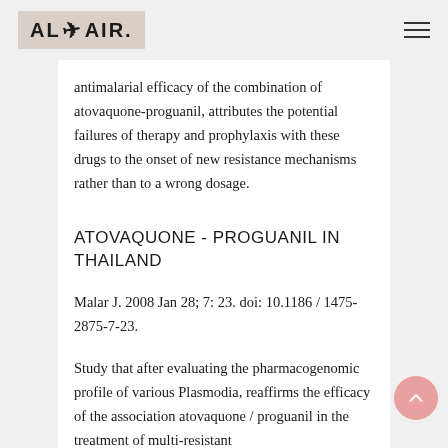AL AIR (logo with hamburger menu)
antimalarial efficacy of the combination of atovaquone-proguanil, attributes the potential failures of therapy and prophylaxis with these drugs to the onset of new resistance mechanisms rather than to a wrong dosage.
ATOVAQUONE - PROGUANIL IN THAILAND
Malar J. 2008 Jan 28; 7: 23. doi: 10.1186 / 1475-2875-7-23.
Study that after evaluating the pharmacogenomic profile of various Plasmodia, reaffirms the efficacy of the association atovaquone / proguanil in the treatment of multi-resistant